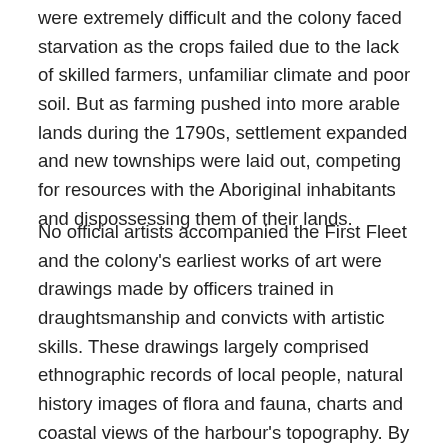were extremely difficult and the colony faced starvation as the crops failed due to the lack of skilled farmers, unfamiliar climate and poor soil. But as farming pushed into more arable lands during the 1790s, settlement expanded and new townships were laid out, competing for resources with the Aboriginal inhabitants and dispossessing them of their lands.
No official artists accompanied the First Fleet and the colony's earliest works of art were drawings made by officers trained in draughtsmanship and convicts with artistic skills. These drawings largely comprised ethnographic records of local people, natural history images of flora and fauna, charts and coastal views of the harbour's topography. By the early years of the nineteenth century views of Sydney emphasised its growth, as urban development symbolised for the colonists the progress of